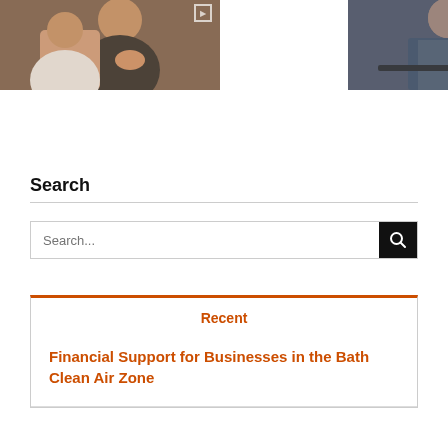[Figure (photo): Photo of a woman in a dark top gesturing in a meeting room setting]
[Figure (photo): Photo of a man in a blue/grey shirt looking at a laptop]
Search
[Figure (other): Search input box with black search button]
Recent
Financial Support for Businesses in the Bath Clean Air Zone